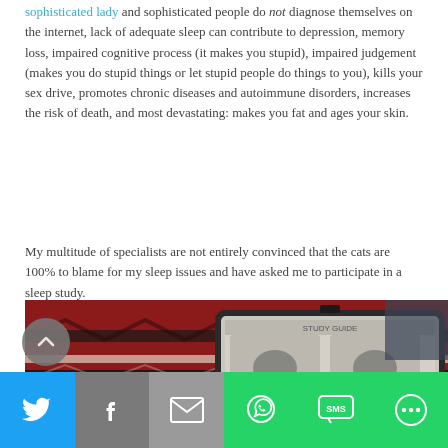sophisticated lady and sophisticated people do not diagnose themselves on the internet, lack of adequate sleep can contribute to depression, memory loss, impaired cognitive process (it makes you stupid), impaired judgement (makes you do stupid things or let stupid people do things to you), kills your sex drive, promotes chronic diseases and autoimmune disorders, increases the risk of death, and most devastating: makes you fat and ages your skin.
My multitude of specialists are not entirely convinced that the cats are 100% to blame for my sleep issues and have asked me to participate in a sleep study.
[Figure (photo): Photo of a tablet device with sleep study diagrams/illustrations resting on a colorful red, black and white patterned woven blanket or rug.]